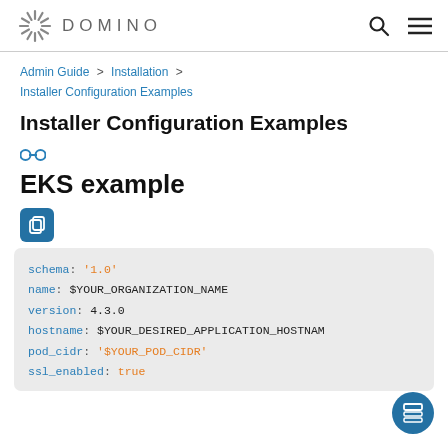DOMINO
Admin Guide > Installation > Installer Configuration Examples
Installer Configuration Examples
EKS example
schema: '1.0'
name: $YOUR_ORGANIZATION_NAME
version: 4.3.0
hostname: $YOUR_DESIRED_APPLICATION_HOSTNAM
pod_cidr: '$YOUR_POD_CIDR'
ssl_enabled: true